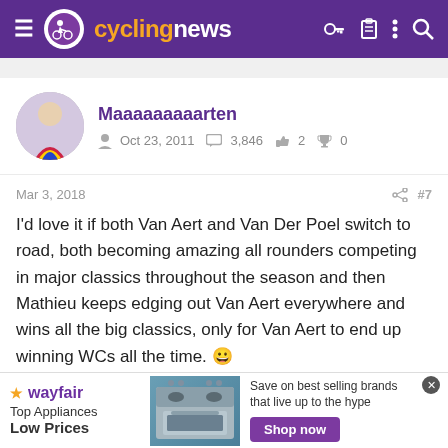cyclingnews navigation bar
Maaaaaaaaarten
Oct 23, 2011   3,846   2   0
Mar 3, 2018   #7
I'd love it if both Van Aert and Van Der Poel switch to road, both becoming amazing all rounders competing in major classics throughout the season and then Mathieu keeps edging out Van Aert everywhere and wins all the big classics, only for Van Aert to end up winning WCs all the time. 😀
El Pistelero
[Figure (screenshot): Wayfair advertisement banner: Top Appliances Low Prices, with stove image and Shop now button]